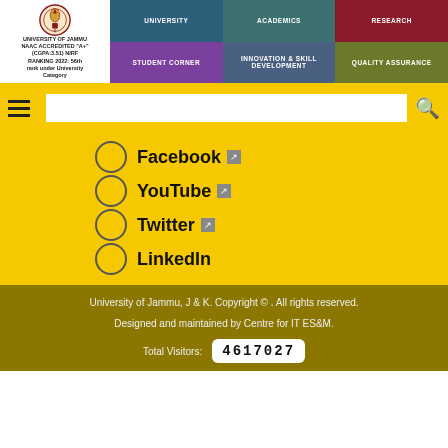[Figure (logo): University of Jammu logo with crest and text: UNIVERSITY OF JAMMU, NAAC ACCREDITED A+ (CGPA:3.51) NIRF RANKING 2022: 56th rank under University Category]
UNIVERSITY | ACADEMICS | RESEARCH | STUDENT CORNER | INNOVATION & SKILL DEVELOPMENT | QUALITY ASSURANCE
Facebook
YouTube
Twitter
LinkedIn
University of Jammu, J & K. Copyright © . All rights reserved.
Designed and maintained by Centre for IT ES&M.
Total Visitors: 4617027